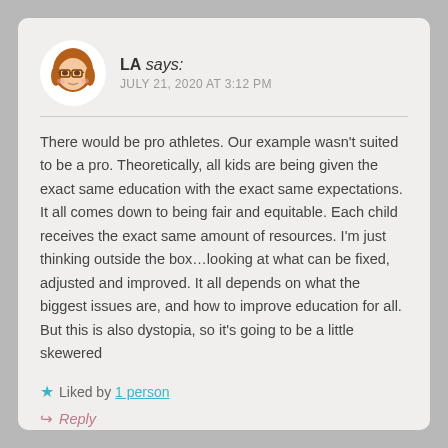LA says:
JULY 21, 2020 AT 3:12 PM
There would be pro athletes. Our example wasn't suited to be a pro. Theoretically, all kids are being given the exact same education with the exact same expectations. It all comes down to being fair and equitable. Each child receives the exact same amount of resources. I'm just thinking outside the box…looking at what can be fixed, adjusted and improved. It all depends on what the biggest issues are, and how to improve education for all. But this is also dystopia, so it's going to be a little skewered
★ Liked by 1 person
↩ Reply